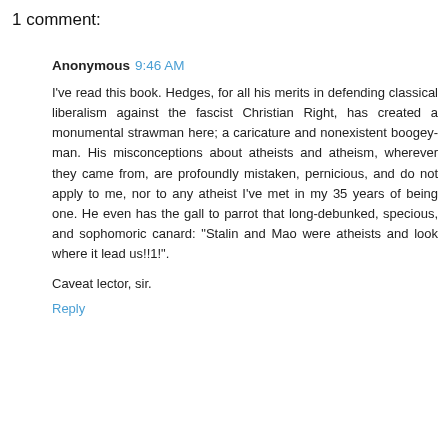1 comment:
Anonymous 9:46 AM
I've read this book. Hedges, for all his merits in defending classical liberalism against the fascist Christian Right, has created a monumental strawman here; a caricature and nonexistent boogey-man. His misconceptions about atheists and atheism, wherever they came from, are profoundly mistaken, pernicious, and do not apply to me, nor to any atheist I've met in my 35 years of being one. He even has the gall to parrot that long-debunked, specious, and sophomoric canard: "Stalin and Mao were atheists and look where it lead us!!1!".
Caveat lector, sir.
Reply